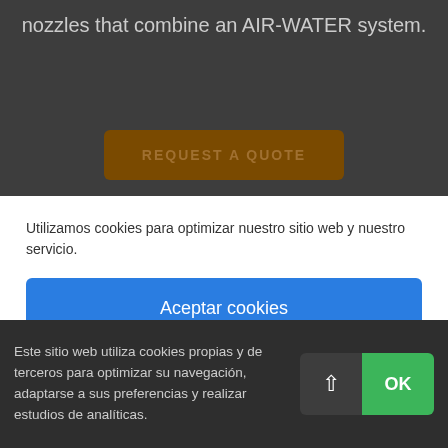nozzles that combine an AIR-WATER system.
[Figure (screenshot): Brown 'REQUEST A QUOTE' button on dark gray background]
Utilizamos cookies para optimizar nuestro sitio web y nuestro servicio.
Aceptar cookies
Solo funcionales
Ver preferencias
Cookie Policy  Privacy Policy
Este sitio web utiliza cookies propias y de terceros para optimizar su navegación, adaptarse a sus preferencias y realizar estudios de analíticas.
OK